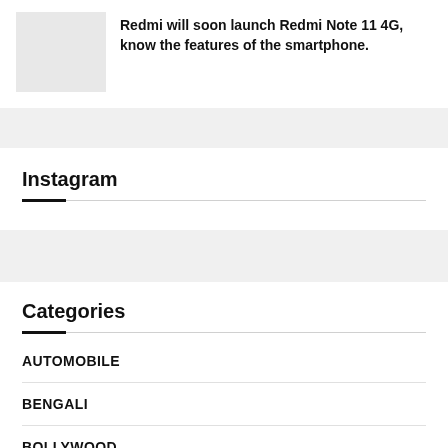[Figure (photo): Thumbnail image placeholder for article about Redmi Note 11 4G]
Redmi will soon launch Redmi Note 11 4G, know the features of the smartphone.
Instagram
Categories
AUTOMOBILE
BENGALI
BOLLYWOOD
CORONAVIRUS